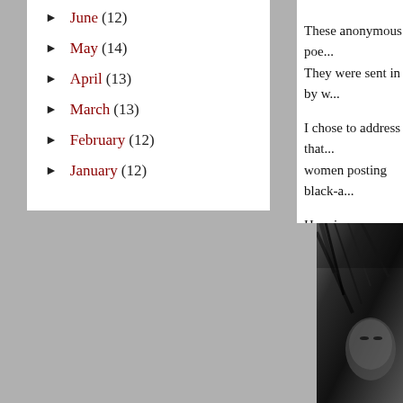► June (12)
► May (14)
► April (13)
► March (13)
► February (12)
► January (12)
These anonymous poe... They were sent in by w...
I chose to address that... women posting black-a...
Here is our Sanaa's Ins...
[Figure (photo): Black and white portrait photo of a woman with dark hair, partially visible on the right side of the page]